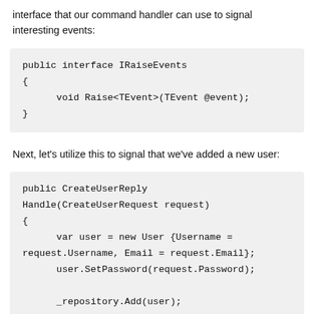interface that our command handler can use to signal interesting events:
public interface IRaiseEvents
{
    void Raise<TEvent>(TEvent @event);
}
Next, let's utilize this to signal that we've added a new user:
public CreateUserReply
Handle(CreateUserRequest request)
{
    var user = new User {Username =
request.Username, Email = request.Email};
    user.SetPassword(request.Password);

    _repository.Add(user);